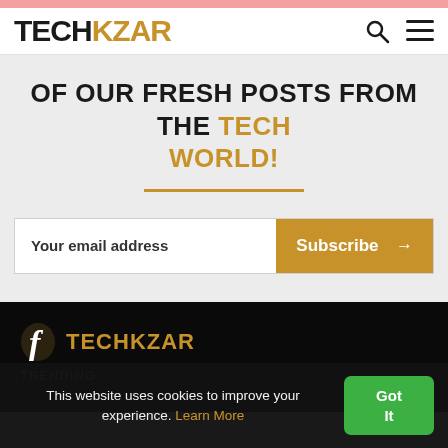TECHKZAR
OF OUR FRESH POSTS FROM THE TECH WORLD!
Your email address
Subscribe →
[Figure (logo): TECHKZAR footer logo with italic f icon in white and TECHKZAR in gold on black background]
TRENDING
This website uses cookies to improve your experience. Learn More
Got It